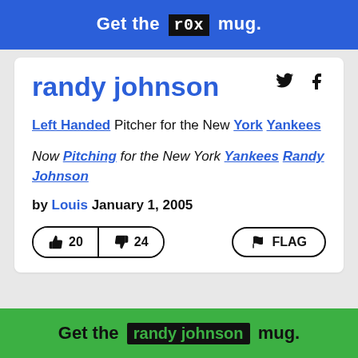Get the r0x mug.
randy johnson
Left Handed Pitcher for the New York Yankees
Now Pitching for the New York Yankees Randy Johnson
by Louis January 1, 2005
👍 20  👎 24  FLAG
Get the randy johnson mug.